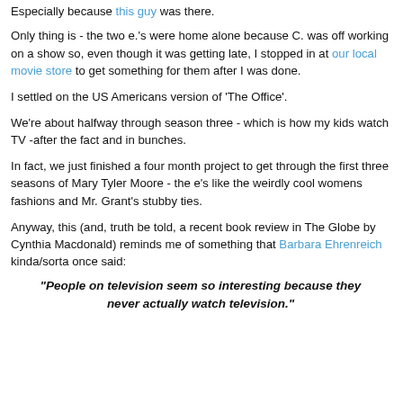Especially because this guy was there.
Only thing is - the two e.'s were home alone because C. was off working on a show so, even though it was getting late, I stopped in at our local movie store to get something for them after I was done.
I settled on the US Americans version of 'The Office'.
We're about halfway through season three - which is how my kids watch TV -after the fact and in bunches.
In fact, we just finished a four month project to get through the first three seasons of Mary Tyler Moore - the e's like the weirdly cool womens fashions and Mr. Grant's stubby ties.
Anyway, this (and, truth be told, a recent book review in The Globe by Cynthia Macdonald) reminds me of something that Barbara Ehrenreich kinda/sorta once said:
"People on television seem so interesting because they never actually watch television."